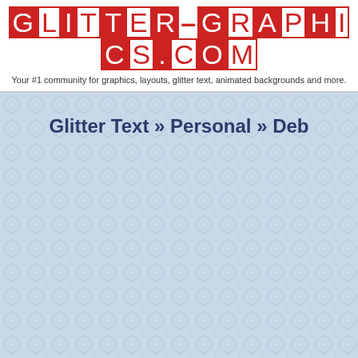[Figure (logo): Glitter-Graphics.com logo with red block letters on white background]
Your #1 community for graphics, layouts, glitter text, animated backgrounds and more.
Glitter Text » Personal » Deb